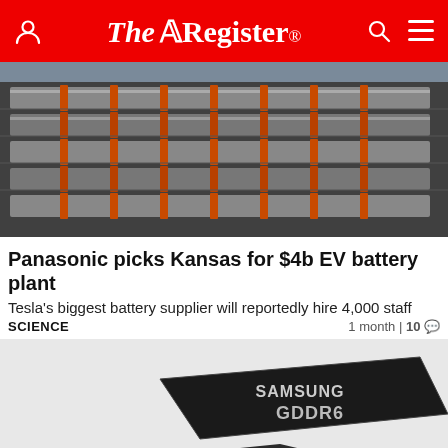The Register
[Figure (photo): Aerial view of Panasonic EV battery plant showing rows of battery modules with orange connectors]
Panasonic picks Kansas for $4b EV battery plant
Tesla's biggest battery supplier will reportedly hire 4,000 staff
SCIENCE    1 month | 10 💬
[Figure (photo): Samsung GDDR6 memory chips, black chip packages with dot array pattern and Samsung GDDR6 branding]